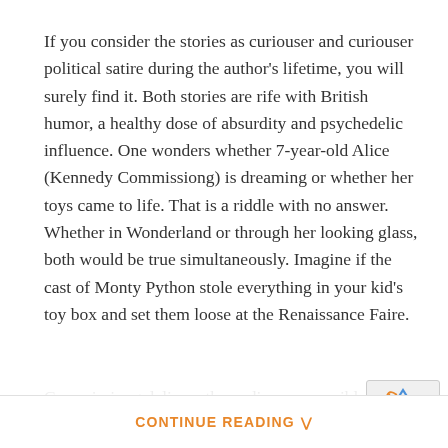If you consider the stories as curiouser and curiouser political satire during the author's lifetime, you will surely find it. Both stories are rife with British humor, a healthy dose of absurdity and psychedelic influence. One wonders whether 7-year-old Alice (Kennedy Commissiong) is dreaming or whether her toys came to life. That is a riddle with no answer. Whether in Wonderland or through her looking glass, both would be true simultaneously. Imagine if the cast of Monty Python stole everything in your kid's toy box and set them loose at the Renaissance Faire.
Commissiong delivers the audience a sensible, plucky Alice who isn't afraid to speak up for herself when faced with characters who chastise or try to behead her. Alice struggles to learn the rules and sometimes tries to assimilate. Every attempt to socialize is met with characters who weapon their wordplay to ensure Alice is kept in her place. Mos